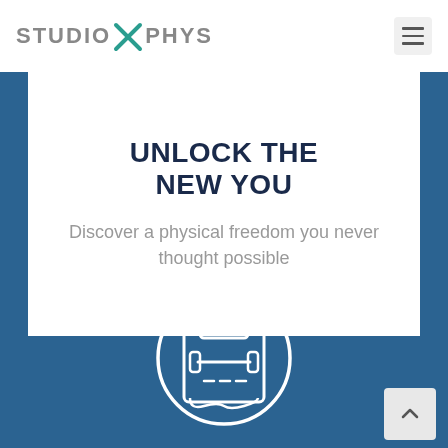STUDIO X PHYS
UNLOCK THE NEW YOU
Discover a physical freedom you never thought possible
[Figure (illustration): Circular icon with white outline showing a workout/fitness schedule clipboard with dumbbell, set against a blue background]